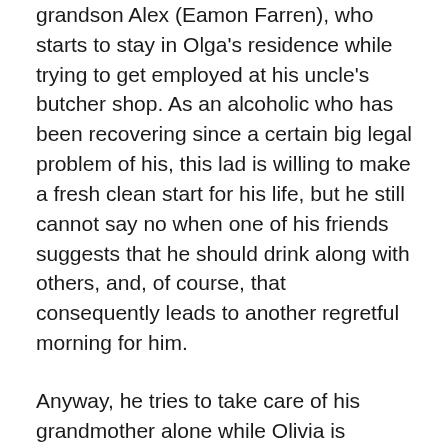grandson Alex (Eamon Farren), who starts to stay in Olga's residence while trying to get employed at his uncle's butcher shop. As an alcoholic who has been recovering since a certain big legal problem of his, this lad is willing to make a fresh clean start for his life, but he still cannot say no when one of his friends suggests that he should drink along with others, and, of course, that consequently leads to another regretful morning for him.
Anyway, he tries to take care of his grandmother alone while Olivia is absent, but Alex soon comes to see how hard and difficult the job really is, so he comes to depend more on Olivia, who generously provides him some guidance and support while also finding herself slowly attracted to him. At one point, she simply watches him reading an old letter for his grandmother, but a series of closeup shots clearly convey to us her thoughts and